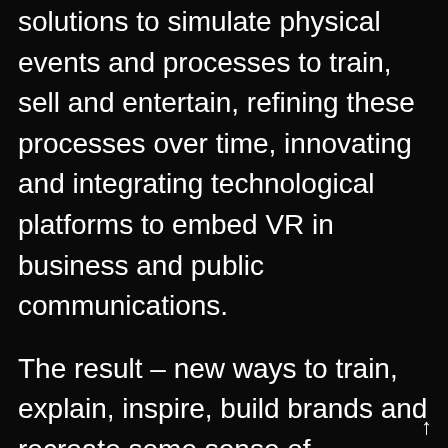solutions to simulate physical events and processes to train, sell and entertain, refining these processes over time, innovating and integrating technological platforms to embed VR in business and public communications.
The result – new ways to train, explain, inspire, build brands and recreate some sense of belonging for organisations coming to terms with doing things over distance, quicker and more cost effectively than when face to face was the norm.  ATMOS VR is now applying the entertainment power of VR to serve business audiences, ever more of whose digital natives expect engaging content, something to watch not something